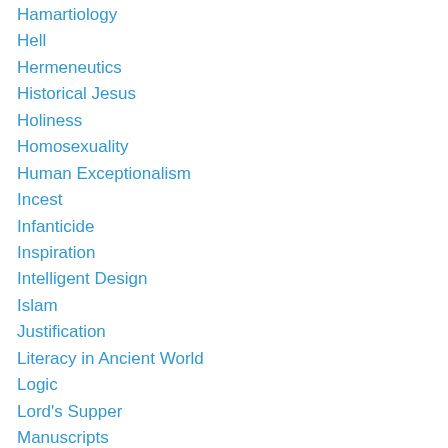Hamartiology
Hell
Hermeneutics
Historical Jesus
Holiness
Homosexuality
Human Exceptionalism
Incest
Infanticide
Inspiration
Intelligent Design
Islam
Justification
Literacy in Ancient World
Logic
Lord's Supper
Manuscripts
Marriage and Divorce
Mind
Miracles